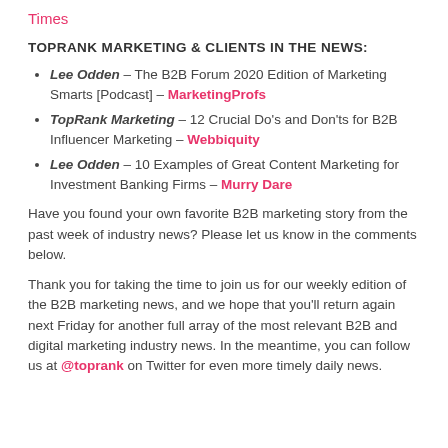Times
TOPRANK MARKETING & CLIENTS IN THE NEWS:
Lee Odden – The B2B Forum 2020 Edition of Marketing Smarts [Podcast] – MarketingProfs
TopRank Marketing – 12 Crucial Do's and Don'ts for B2B Influencer Marketing – Webbiquity
Lee Odden – 10 Examples of Great Content Marketing for Investment Banking Firms – Murry Dare
Have you found your own favorite B2B marketing story from the past week of industry news? Please let us know in the comments below.
Thank you for taking the time to join us for our weekly edition of the B2B marketing news, and we hope that you'll return again next Friday for another full array of the most relevant B2B and digital marketing industry news. In the meantime, you can follow us at @toprank on Twitter for even more timely daily news.